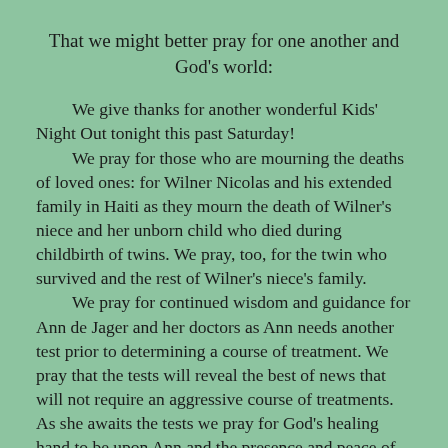That we might better pray for one another and God's world:
We give thanks for another wonderful Kids' Night Out tonight this past Saturday! We pray for those who are mourning the deaths of loved ones: for Wilner Nicolas and his extended family in Haiti as they mourn the death of Wilner's niece and her unborn child who died during childbirth of twins. We pray, too, for the twin who survived and the rest of Wilner's niece's family. We pray for continued wisdom and guidance for Ann de Jager and her doctors as Ann needs another test prior to determining a course of treatment. We pray that the tests will reveal the best of news that will not require an aggressive course of treatments. As she awaits the tests we pray for God's healing hand to be upon Ann and the presence and peace of Christ to rule in the de Jagers'